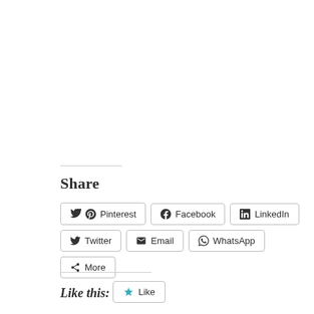Share
Pinterest
Facebook
LinkedIn
Twitter
Email
WhatsApp
More
Like this:
Like